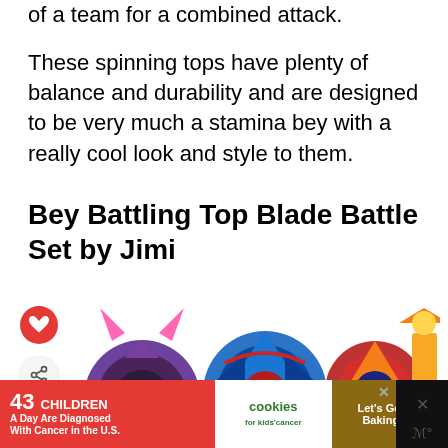of a team for a combined attack.
These spinning tops have plenty of balance and durability and are designed to be very much a stamina bey with a really cool look and style to them.
Bey Battling Top Blade Battle Set by Jimi
[Figure (photo): Product image showing multiple Beyblade spinning tops including a purple one with pink horns, a blue one, a red and gold one, and a yellow trophy-like piece. A red heart/favorite icon and a share icon are visible on the left side.]
[Figure (infographic): Advertisement banner: '43 CHILDREN A Day Are Diagnosed With Cancer in the U.S.' with cookies for kids cancer logo and 'Let's Get Baking' text on dark background.]